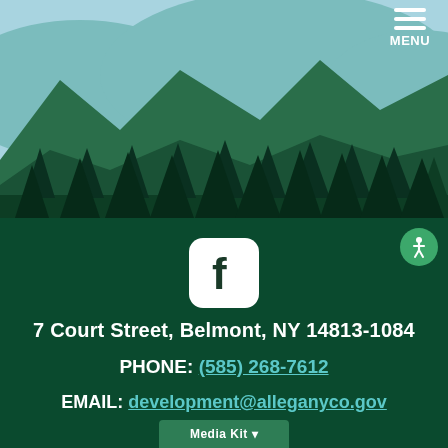[Figure (illustration): Illustrated landscape banner with light blue sky, dark green rolling hills, mountains, and silhouetted pine trees — website header illustration for Allegany County government site]
[Figure (logo): Facebook social media icon — white rounded-square with bold letter f in dark green/black]
[Figure (other): Green circular accessibility icon with a person figure (wheelchair accessible symbol) in white]
[Figure (other): Hamburger menu icon with three horizontal white lines and MENU text label in top-right corner]
7 Court Street, Belmont, NY 14813-1084
PHONE: (585) 268-7612
EMAIL: development@alleganyco.gov
Media Kit